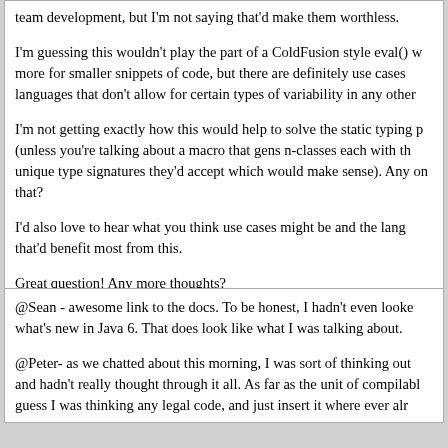team development, but I'm not saying that'd make them worthless.
I'm guessing this wouldn't play the part of a ColdFusion style eval() w more for smaller snippets of code, but there are definitely use cases languages that don't allow for certain types of variability in any other
I'm not getting exactly how this would help to solve the static typing p (unless you're talking about a macro that gens n-classes each with th unique type signatures they'd accept which would make sense). Any on that?
I'd also love to hear what you think use cases might be and the lang that'd benefit most from this.
Great question! Any more thoughts?
Posted by Peter Bell on May 21, 2007 at 02:58 AM UTC - 5 hrs
@Sean - awesome link to the docs. To be honest, I hadn't even looke what's new in Java 6. That does look like what I was talking about.
@Peter- as we chatted about this morning, I was sort of thinking out and hadn't really thought through it all. As far as the unit of compilabl guess I was thinking any legal code, and just insert it where ever alr